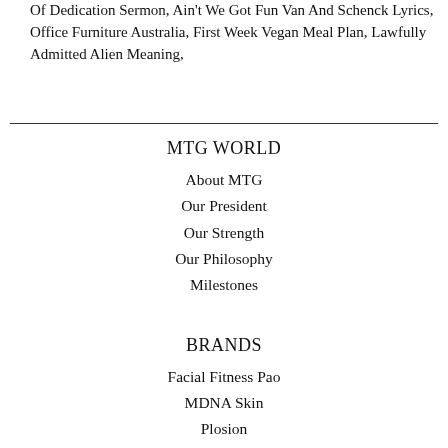Of Dedication Sermon, Ain't We Got Fun Van And Schenck Lyrics, Office Furniture Australia, First Week Vegan Meal Plan, Lawfully Admitted Alien Meaning,
MTG WORLD
About MTG
Our President
Our Strength
Our Philosophy
Milestones
BRANDS
Facial Fitness Pao
MDNA Skin
Plosion
ReFa
ReFa ACTIVE
Sixpad